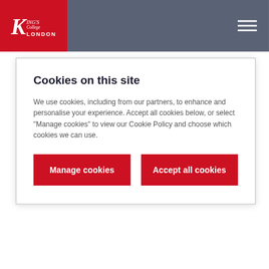King's College London
Cookies on this site
We use cookies, including from our partners, to enhance and personalise your experience. Accept all cookies below, or select "Manage cookies" to view our Cookie Policy and choose which cookies we can use.
Manage cookies | Accept all cookies
Citizens UK, as well as build your own ideas and develop key transferrable skills in negotiation, problem solving and leadership.
After participating, you will receive a certificate and have the opportunity to participate in Community Organising Masterclasses throughout the summer, which will delve deeper into building power, campaigning and taking action.